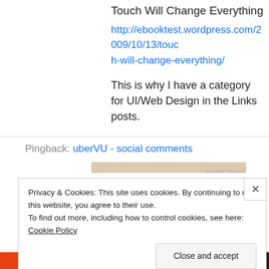Touch Will Change Everything
http://ebooktest.wordpress.com/2009/10/13/touch-will-change-everything/
This is why I have a category for UI/Web Design in the Links posts.
Pingback: uberVU - social comments
Privacy & Cookies: This site uses cookies. By continuing to use this website, you agree to their use.
To find out more, including how to control cookies, see here: Cookie Policy
Close and accept